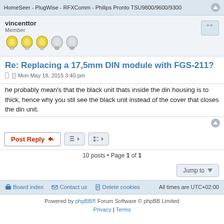HomeSeer - PlugWise - RFXComm - Philips Pronto TSU9800/9600/9300
vincenttor
Member
Re: Replacing a 17,5mm DIN module with FGS-211?
Mon May 18, 2015 3:40 pm
he probably mean's that the black unit thats inside the din housing is to thick, hence why you stil see the black unit instead of the cover that closes the din unit.
Board index   Contact us   Delete cookies   All times are UTC+02:00
Powered by phpBB® Forum Software © phpBB Limited
Privacy | Terms